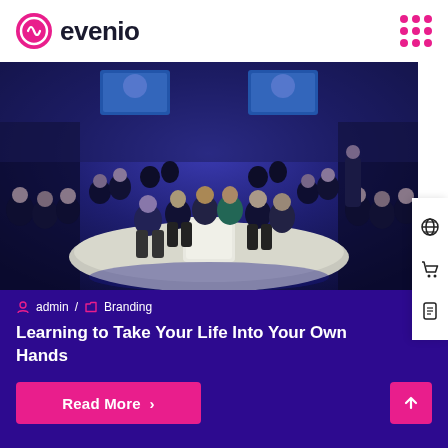evenio
[Figure (photo): Panel discussion at a conference event with multiple speakers seated in a circular arrangement on a stage, audience surrounding them, large screens in the background showing a speaker.]
admin / Branding
Learning to Take Your Life Into Your Own Hands
Read More >